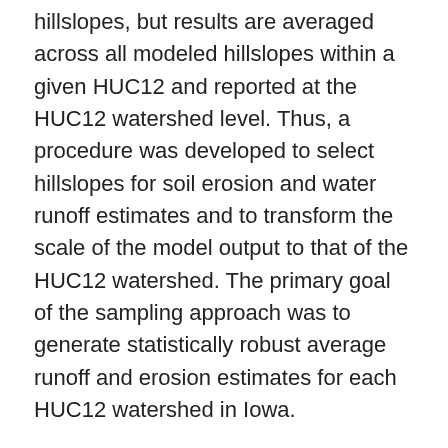hillslopes, but results are averaged across all modeled hillslopes within a given HUC12 and reported at the HUC12 watershed level. Thus, a procedure was developed to select hillslopes for soil erosion and water runoff estimates and to transform the scale of the model output to that of the HUC12 watershed. The primary goal of the sampling approach was to generate statistically robust average runoff and erosion estimates for each HUC12 watershed in Iowa.
Meteorological Data
DEP assimilates meteorological data each day into a format usable by the WEPP model.  While WEPP can use a weather generator to create virtual storms, we instead provide spatially and temporally explicit weather information to drive our daily estimates.  The generation of this information is facilitated by various data services and archives maintained by the Iowa Environmental Mesonet (IEM). How is it access this informatio...